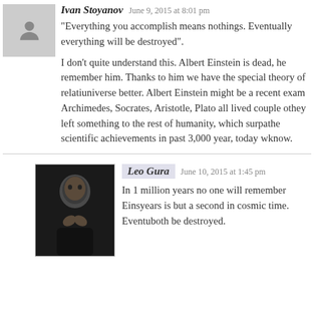Ivan Stoyanov   June 9, 2015 at 8:01 pm
“Everything you accomplish means nothings. Eventually everything will be destroyed”.
I don’t quite understand this. Albert Einstein is dead, however we remember him. Thanks to him we have the special theory of relativity and we understand the universe better. Albert Einstein might be a recent example. Archimedes, Socrates, Aristotle, Plato all lived couple of thousand years ago, but they left something to the rest of humanity, which surpasses all of the scientific achievements in past 3,000 year, today we know.
Leo Gura   June 10, 2015 at 1:45 pm
In 1 million years no one will remember Einstein. 1 million years is but a second in cosmic time. Eventually the sun and earth will both be destroyed.